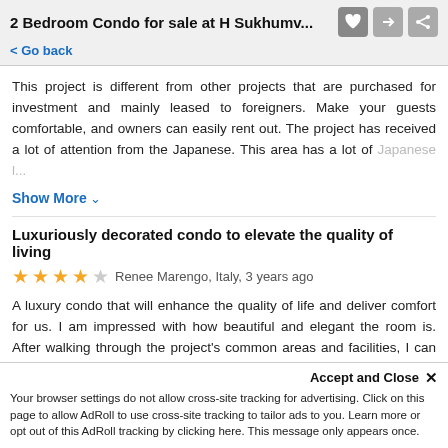2 Bedroom Condo for sale at H Sukhumv...
< Go back
This project is different from other projects that are purchased for investment and mainly leased to foreigners. Make your guests comfortable, and owners can easily rent out. The project has received a lot of attention from the Japanese. This area has a lot of Japanese l...
Show More
Luxuriously decorated condo to elevate the quality of living
★★★★☆ Renee Marengo, Italy, 3 years ago
A luxury condo that will enhance the quality of life and deliver comfort for us. I am impressed with how beautiful and elegant the room is. After walking through the project's common areas and facilities, I can see how much the developer pays attention to the details. Al...
Accept and Close ✕ Your browser settings do not allow cross-site tracking for advertising. Click on this page to allow AdRoll to use cross-site tracking to tailor ads to you. Learn more or opt out of this AdRoll tracking by clicking here. This message only appears once.